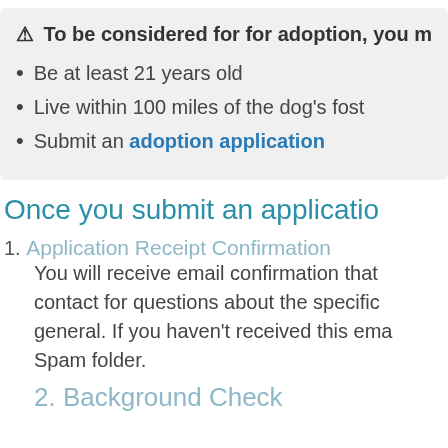⚠ To be considered for for adoption, you m
Be at least 21 years old
Live within 100 miles of the dog's fost
Submit an adoption application
Once you submit an applicatio
1. Application Receipt Confirmation — You will receive email confirmation that contact for questions about the specific general. If you haven't received this ema Spam folder.
2. Background Check